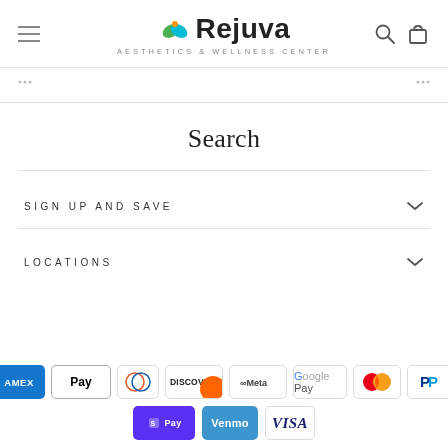[Figure (logo): Rejuva Aesthetics & Wellness Center logo with green leaf icon]
Search
SIGN UP AND SAVE
LOCATIONS
[Figure (infographic): Payment method icons: American Express, Apple Pay, Diners Club, Discover, Meta Pay, Google Pay, Mastercard, PayPal, Shop Pay, Venmo, Visa]